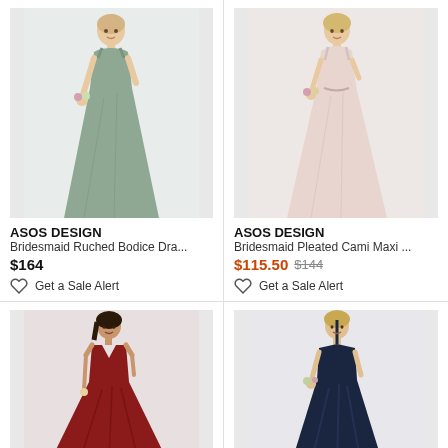[Figure (photo): Model wearing sage green bridesmaid maxi dress with ruched bodice, holding flowers]
ASOS DESIGN
Bridesmaid Ruched Bodice Dra...
$164
Get a Sale Alert
[Figure (photo): Model wearing blush pink bridesmaid pleated cami maxi dress, holding flowers]
ASOS DESIGN
Bridesmaid Pleated Cami Maxi ...
$115.50 $144
Get a Sale Alert
[Figure (photo): Model wearing deep red/burgundy bridesmaid pleated maxi dress with plunging neckline]
ASOS DESIGN
[Figure (photo): Model wearing navy blue satin bridesmaid halter neck maxi dress, holding flowers]
ASOS DESIGN